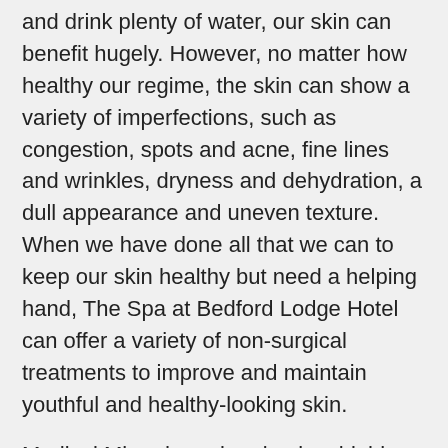and drink plenty of water, our skin can benefit hugely. However, no matter how healthy our regime, the skin can show a variety of imperfections, such as congestion, spots and acne, fine lines and wrinkles, dryness and dehydration, a dull appearance and uneven texture. When we have done all that we can to keep our skin healthy but need a helping hand, The Spa at Bedford Lodge Hotel can offer a variety of non-surgical treatments to improve and maintain youthful and healthy-looking skin.
Medical Microdermabrasion is a highly-effective, device-led treatment which can treat a wide-range of skin concerns and is offered here at The Spa at Bedford Lodge Hotel. Using tiny crystals which gently exfoliate the skin and a gentle suction process, Microdermabrasion manually removes dead and dull skin cells as well as imperfections; revealing youthful and healthy skin and encouraging new cell turnover and improving oil regulation.
Medical Microdermabrasion is great for...